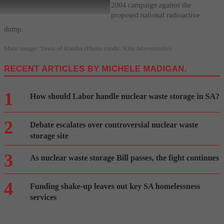[Figure (photo): Partial photo of a person at top left corner, cropped]
2004 campaign against the proposed national radioactive dump.
Main image: Town of Kimba (Photo credit: Kim Mavromatis)
RECENT ARTICLES BY MICHELE MADIGAN.
1 How should Labor handle nuclear waste storage in SA?
2 Debate escalates over controversial nuclear waste storage site
3 As nuclear waste storage Bill passes, the fight continues
4 Funding shake-up leaves out key SA homelessness services